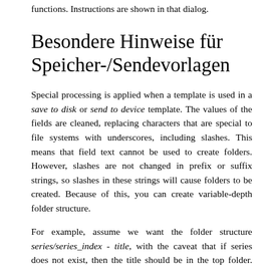functions. Instructions are shown in that dialog.
Besondere Hinweise für Speicher-/Sendevorlagen
Special processing is applied when a template is used in a save to disk or send to device template. The values of the fields are cleaned, replacing characters that are special to file systems with underscores, including slashes. This means that field text cannot be used to create folders. However, slashes are not changed in prefix or suffix strings, so slashes in these strings will cause folders to be created. Because of this, you can create variable-depth folder structure.
For example, assume we want the folder structure series/series_index - title, with the caveat that if series does not exist, then the title should be in the top folder. The template to do this is: